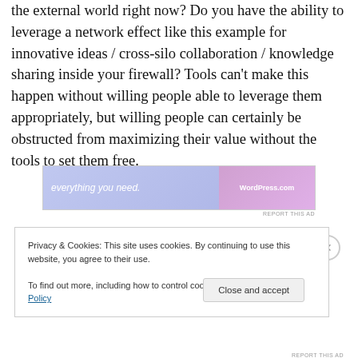the external world right now?  Do you have the ability to leverage a network effect like this example for innovative ideas / cross-silo collaboration / knowledge sharing inside your firewall?  Tools can't make this happen without willing people able to leverage them appropriately, but willing people can certainly be obstructed from maximizing their value without the tools to set them free.
[Figure (other): WordPress.com advertisement banner reading 'everything you need.' with WordPress.com logo on a blue-to-pink gradient background]
Privacy & Cookies: This site uses cookies. By continuing to use this website, you agree to their use.
To find out more, including how to control cookies, see here: Cookie Policy